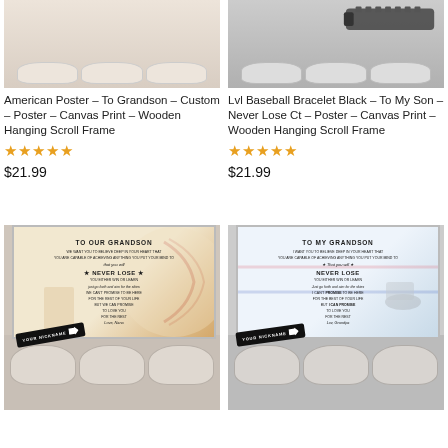[Figure (photo): Product image of a poster on wall above bed with pillows - American Poster To Grandson baseball themed]
American Poster – To Grandson – Custom – Poster – Canvas Print – Wooden Hanging Scroll Frame
★★★★★
$21.99
[Figure (photo): Product image showing Lvl Baseball Bracelet Black and poster on wall - To My Son bracelet with hockey themed poster]
Lvl Baseball Bracelet Black – To My Son – Never Lose Ct – Poster – Canvas Print – Wooden Hanging Scroll Frame
★★★★★
$21.99
[Figure (photo): Product image of baseball themed To Our Grandson poster on wall above bed, with YOUR NICKNAME arrow tag]
[Figure (photo): Product image of hockey themed To My Grandson poster on wall above bed, with YOUR NICKNAME arrow tag]